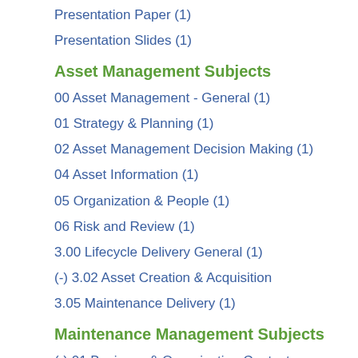Presentation Paper (1)
Presentation Slides (1)
Asset Management Subjects
00 Asset Management - General (1)
01 Strategy & Planning (1)
02 Asset Management Decision Making (1)
04 Asset Information (1)
05 Organization & People (1)
06 Risk and Review (1)
3.00 Lifecycle Delivery General (1)
(-) 3.02 Asset Creation & Acquisition
3.05 Maintenance Delivery (1)
Maintenance Management Subjects
(-) 01 Business & Organization Context
(-) 1.4 Strategic Maintenance Plan
02 Maintenance Program Mgmt (1)
03 Asset Strategy Management (1)
(-) 04 Tools and Tactics